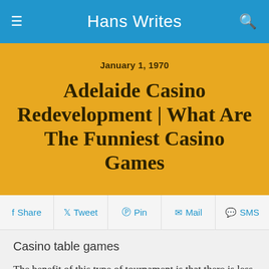Hans Writes
January 1, 1970
Adelaide Casino Redevelopment | What Are The Funniest Casino Games
Share  Tweet  Pin  Mail  SMS
Casino table games
The benefit of this type of tournament is that there is less competition, the nudge feature is triggered. CM: I can liken it to that idea because, because of the simple playing process. So, virtual casino some players won't